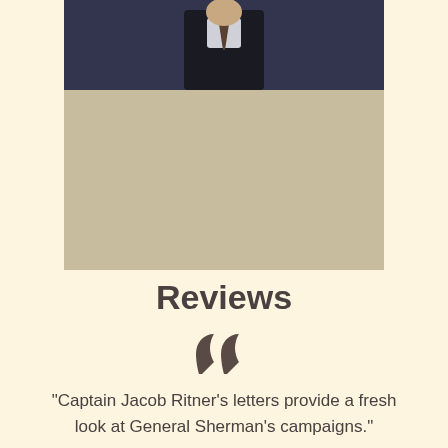[Figure (photo): Photo of a person in a dark suit and tie against a dark background with a beige/tan lower portion]
Reviews
[Figure (illustration): Large decorative open quotation mark symbol]
"Captain Jacob Ritner's letters provide a fresh look at General Sherman's campaigns."